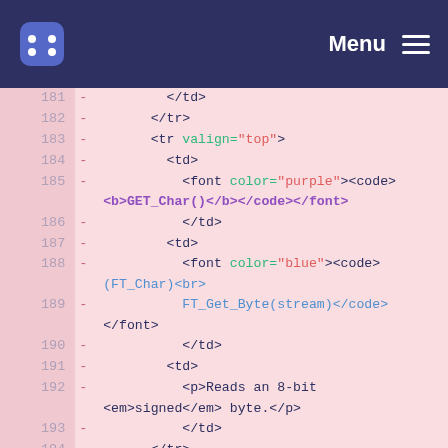Menu
181   -       </td>
182   -       </tr>
183   -       <tr valign="top">
184   -         <td>
185   -           <font color="purple"><code><b>GET_Char()</b></code></font>
186   -           </td>
187   -         <td>
188   -           <font color="blue"><code>(FT_Char)<br>
189   -           FT_Get_Byte(stream)</code></font>
190   -           </td>
191   -         <td>
192   -           <p>Reads an 8-bit <em>signed</em> byte.</p>
193   -           </td>
194   -       </tr>
195   -       <tr valign="top">
196   -         <td>